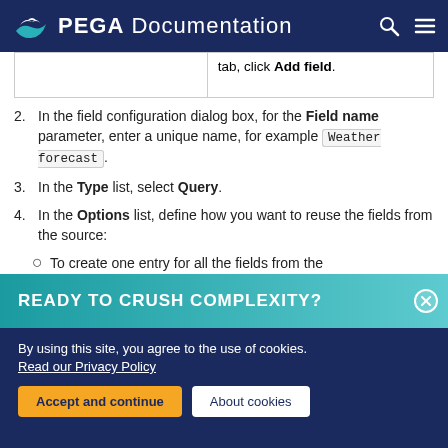PEGA Documentation
|  | tab, click Add field. |
In the field configuration dialog box, for the Field name parameter, enter a unique name, for example Weather forecast.
In the Type list, select Query.
In the Options list, define how you want to reuse the fields from the source:
To create one entry for all the fields from the
READY TO CRUSH COMPLEXITY?
By using this site, you agree to the use of cookies. Read our Privacy Policy
Accept and continue   About cookies